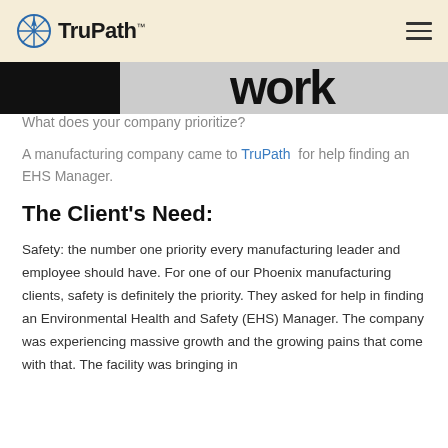TruPath
[Figure (photo): Partial banner image showing black and white text with the word 'work' visible on the right side]
What does your company prioritize?
A manufacturing company came to TruPath for help finding an EHS Manager.
The Client's Need:
Safety: the number one priority every manufacturing leader and employee should have. For one of our Phoenix manufacturing clients, safety is definitely the priority. They asked for help in finding an Environmental Health and Safety (EHS) Manager. The company was experiencing massive growth and the growing pains that come with that. The facility was bringing in